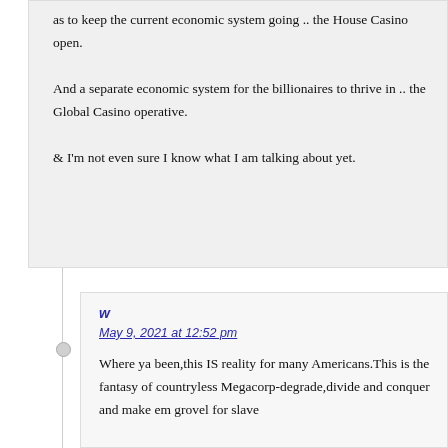as to keep the current economic system going .. the House Casino open.
And a separate economic system for the billionaires to thrive in .. the Global Casino operative.
& I'm not even sure I know what I am talking about yet.
w
May 9, 2021 at 12:52 pm
Where ya been,this IS reality for many Americans.This is the fantasy of countryless Megacorp-degrade,divide and conquer and make em grovel for slave